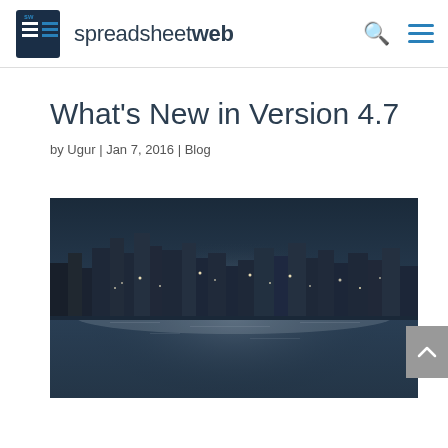spreadsheetweb
What's New in Version 4.7
by Ugur | Jan 7, 2016 | Blog
[Figure (photo): Black and white aerial night photo of a city skyline with skyscrapers and a harbor, illuminated by city lights]